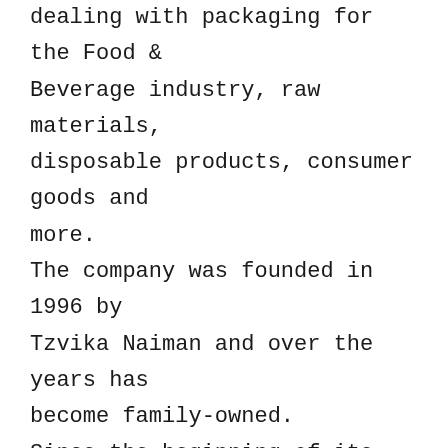dealing with packaging for the Food & Beverage industry, raw materials, disposable products, consumer goods and more. The company was founded in 1996 by Tzvika Naiman and over the years has become family-owned. Since the beginning of its activity, the company has been working with premium quality packaging manufacturers. Among our suppliers you can find Ball, Koksan, Ecopack, GCA, Weener and others. We have strong and intense business relationships with all our customers